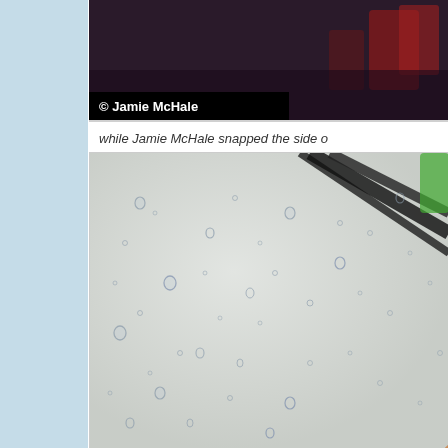[Figure (photo): Top partial photo with dark purple/maroon background showing objects, with black copyright bar overlay reading '© Jamie McHale']
while Jamie McHale snapped the side o
[Figure (photo): Large close-up photo of a rain-covered glass surface with water droplets, with blurred colorful objects (orange, red, green, black cables/items) visible through/on the glass in the right and bottom portion]